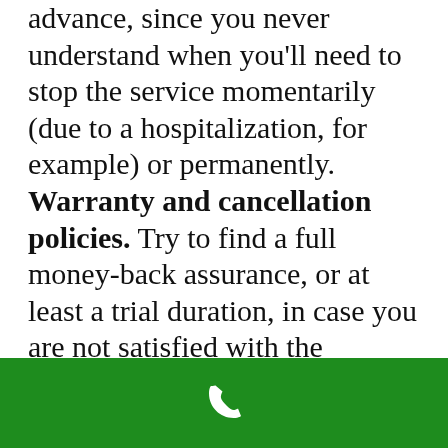advance, since you never understand when you'll need to stop the service momentarily (due to a hospitalization, for example) or permanently. Warranty and cancellation policies. Try to find a full money-back assurance, or at least a trial duration, in case you are not satisfied with the service. And you'll desire the ability to cancel at any time with no penalties (and a complete refund if month-to-month charges have actually already been paid). Discounts. Ask about discounts...
[Figure (other): Green footer bar with a white phone/call icon in the center]